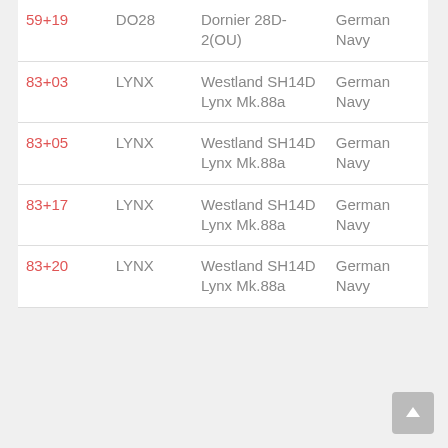| 59+19 | DO28 | Dornier 28D-2(OU) | German Navy |
| 83+03 | LYNX | Westland SH14D Lynx Mk.88a | German Navy |
| 83+05 | LYNX | Westland SH14D Lynx Mk.88a | German Navy |
| 83+17 | LYNX | Westland SH14D Lynx Mk.88a | German Navy |
| 83+20 | LYNX | Westland SH14D Lynx Mk.88a | German Navy |